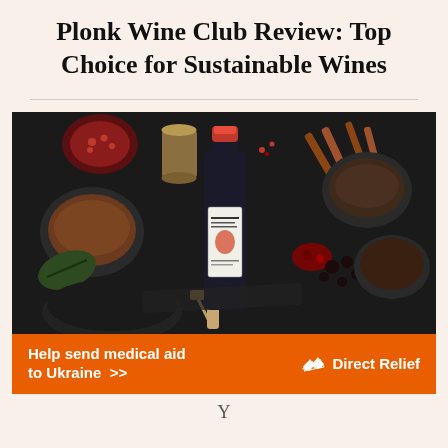Plonk Wine Club Review: Top Choice for Sustainable Wines
[Figure (photo): A dark styled food photography image showing a wine bottle (labeled 'Angithead' or similar) surrounded by spices, pomegranate, cinnamon sticks, dark berries, and various bowls on a dark background with a corkscrew visible.]
[Figure (infographic): Orange advertisement banner for Direct Relief reading 'Help send medical aid to Ukraine >>' with Direct Relief logo (white icon and text) on the right side.]
Y